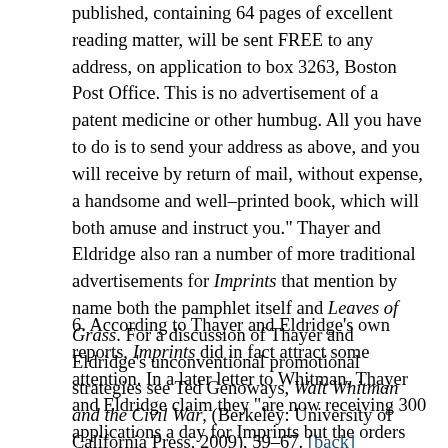published, containing 64 pages of excellent reading matter, will be sent FREE to any address, on application to box 3263, Boston Post Office. This is no advertisement of a patent medicine or other humbug. All you have to do is to send your address as above, and you will receive by return of mail, without expense, a handsome and well–printed book, which will both amuse and instruct you." Thayer and Eldridge also ran a number of more traditional advertisements for Imprints that mention by name both the pamphlet itself and Leaves of Grass. For a discussion of Thayer and Eldridge's unconventional promotional strategies see Ted Genoways, Walt Whitman and the Civil War, (Berkeley: University of California Press, 2009), 59–67. [back]
6. According to Thayer and Eldridge's own reports, Imprints did in fact attract some attention. In a later letter to Whitman, Thayer and Eldridge claim they "are now receiving 300 applications a day for Imprints but the orders by mail [for Leaves of Grass] do not seem to come in much yet—probably owing to the season of the year which is more adopted to having than reading." See Thayer and Eldridge to